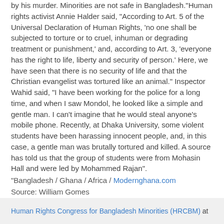by his murder. Minorities are not safe in Bangladesh."Human rights activist Annie Halder said, "According to Art. 5 of the Universal Declaration of Human Rights, 'no one shall be subjected to torture or to cruel, inhuman or degrading treatment or punishment,' and, according to Art. 3, 'everyone has the right to life, liberty and security of person.' Here, we have seen that there is no security of life and that the Christian evangelist was tortured like an animal." Inspector Wahid said, "I have been working for the police for a long time, and when I saw Mondol, he looked like a simple and gentle man. I can't imagine that he would steal anyone's mobile phone. Recently, at Dhaka University, some violent students have been harassing innocent people, and, in this case, a gentle man was brutally tortured and killed. A source has told us that the group of students were from Mohasin Hall and were led by Mohammed Rajan".
"Bangladesh / Ghana / Africa / Modernghana.com
Source: William Gomes
Human Rights Congress for Bangladesh Minorities (HRCBM) at